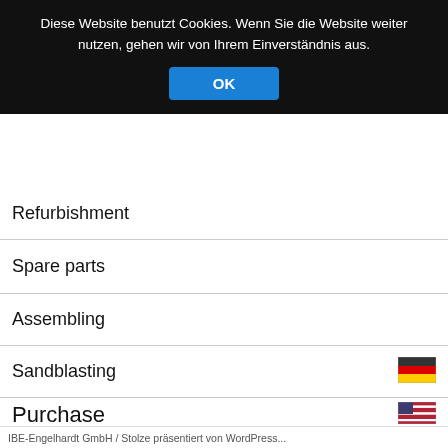Diese Website benutzt Cookies. Wenn Sie die Website weiter nutzen, gehen wir von Ihrem Einverständnis aus.
OK
Refurbishment
Spare parts
Assembling
Sandblasting
Purchase
Contact
Legal notes
IBE-Engelhardt GmbH / Stolze präsentiert von WordPress...